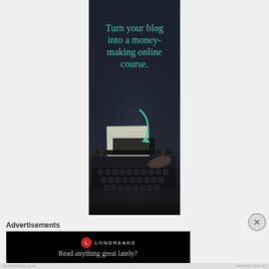[Figure (illustration): Advertisement banner with dark background showing a typewriter. Teal/mint colored text reads 'Turn your blog into a money-making online course.' A teal curved arrow points downward toward the typewriter keyboard. Dark moody photography style.]
Advertisements
[Figure (logo): Longreads advertisement banner. Black background with Longreads circular red logo and 'LONGREADS' text in white caps. Tagline: 'Read anything great lately?']